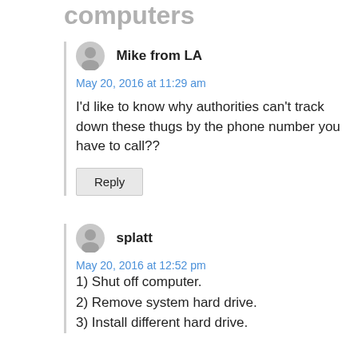computers
Mike from LA
May 20, 2016 at 11:29 am
I'd like to know why authorities can't track down these thugs by the phone number you have to call??
splatt
May 20, 2016 at 12:52 pm
1) Shut off computer.
2) Remove system hard drive.
3) Install different hard drive.